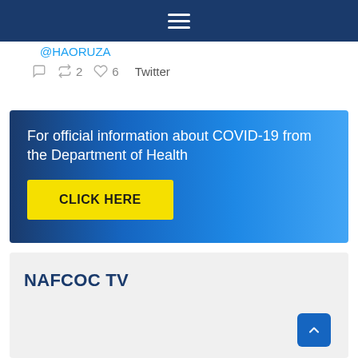☰ (hamburger menu)
@HAORUZA
🗨 🔁 2 ♡ 6  Twitter
[Figure (infographic): COVID-19 information banner with dark blue gradient background, white text reading 'For official information about COVID-19 from the Department of Health', and a yellow 'CLICK HERE' button]
NAFCOC TV